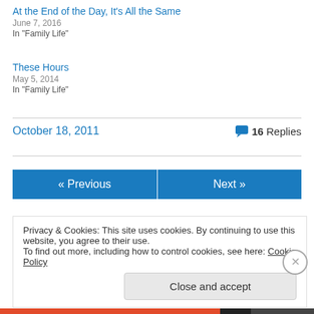At the End of the Day, It's All the Same
June 7, 2016
In "Family Life"
These Hours
May 5, 2014
In "Family Life"
October 18, 2011
16 Replies
« Previous
Next »
Privacy & Cookies: This site uses cookies. By continuing to use this website, you agree to their use.
To find out more, including how to control cookies, see here: Cookie Policy
Close and accept